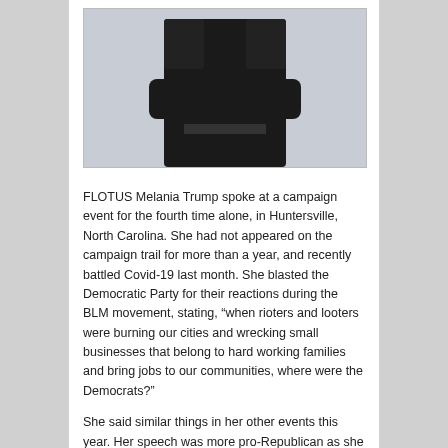[Figure (photo): A person dressed in dark/black clothing, cropped photo showing torso and arms crossed, background appears light/outdoor]
FLOTUS Melania Trump spoke at a campaign event for the fourth time alone, in Huntersville, North Carolina. She had not appeared on the campaign trail for more than a year, and recently battled Covid-19 last month. She blasted the Democratic Party for their reactions during the BLM movement, stating, “when rioters and looters were burning our cities and wrecking small businesses that belong to hard working families and bring jobs to our communities, where were the Democrats?”
She said similar things in her other events this year. Her speech was more pro-Republican as she blasted the Democrats and FMR VP Biden. She also claimed that her staff and supporters do not feel comfortable supporting her husband, blaming on the Democratic Party and its